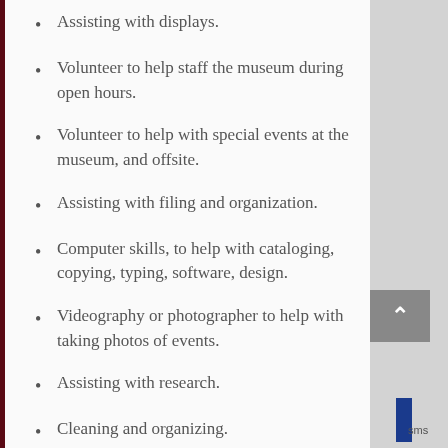Assisting with displays.
Volunteer to help staff the museum during open hours.
Volunteer to help with special events at the museum, and offsite.
Assisting with filing and organization.
Computer skills, to help with cataloging, copying, typing, software, design.
Videography or photographer to help with taking photos of events.
Assisting with research.
Cleaning and organizing.
Clipping articles, pics and obits from newspapers that have historical value.
Scanning, copying,